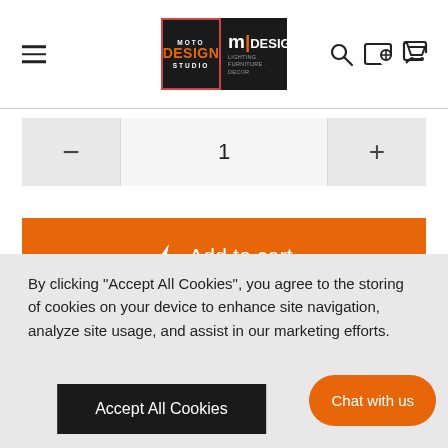[Figure (logo): Moto Design Studio and mDesign logos in header navigation bar with hamburger menu, search icon, and cart icon]
1
Add to cart
[Figure (illustration): Social sharing icons: Twitter (blue bird), Facebook (gray f), Pinterest (red P), Email (red envelope) — each in a circular outlined button]
By clicking "Accept All Cookies", you agree to the storing of cookies on your device to enhance site navigation, analyze site usage, and assist in our marketing efforts.
Accept All Cookies
Chat with us